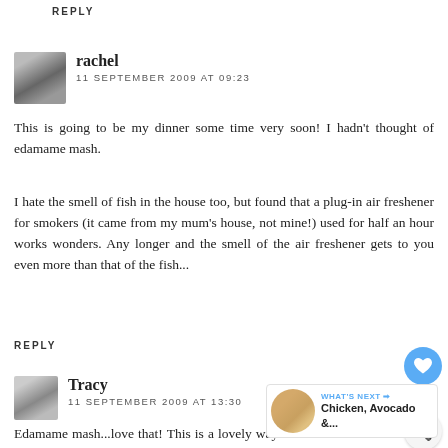REPLY
rachel
11 SEPTEMBER 2009 AT 09:23
This is going to be my dinner some time very soon! I hadn't thought of edamame mash.
I hate the smell of fish in the house too, but found that a plug-in air freshener for smokers (it came from my mum's house, not mine!) used for half an hour works wonders. Any longer and the smell of the air freshener gets to you even more than that of the fish...
REPLY
Tracy
11 SEPTEMBER 2009 AT 13:30
Edamame mash...love that! This is a lovely way t Marie...I can't wait to try this! Happy weekend, sweet friend--
LOVE YA ((BIG HUGS))